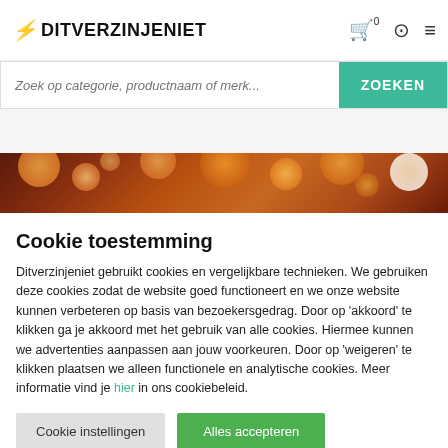⚡ DITVERZINJENIET — navigation with cart, account, and menu icons
Zoek op categorie, productnaam of merk...
[Figure (photo): Bokeh background banner with warm orange and red blurred light circles on dark background]
Cookie toestemming
Ditverzinjeniet gebruikt cookies en vergelijkbare technieken. We gebruiken deze cookies zodat de website goed functioneert en we onze website kunnen verbeteren op basis van bezoekersgedrag. Door op 'akkoord' te klikken ga je akkoord met het gebruik van alle cookies. Hiermee kunnen we advertenties aanpassen aan jouw voorkeuren. Door op 'weigeren' te klikken plaatsen we alleen functionele en analytische cookies. Meer informatie vind je hier in ons cookiebeleid.
Cookie instellingen
Alles accepteren